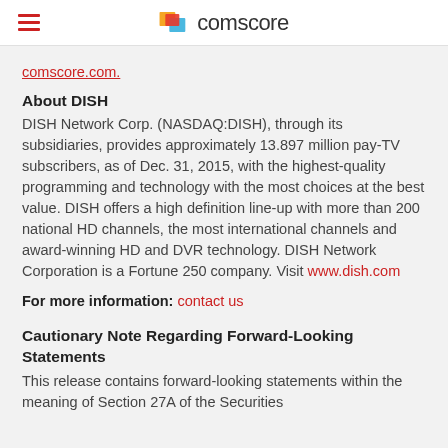comscore
comscore.com.
About DISH
DISH Network Corp. (NASDAQ:DISH), through its subsidiaries, provides approximately 13.897 million pay-TV subscribers, as of Dec. 31, 2015, with the highest-quality programming and technology with the most choices at the best value. DISH offers a high definition line-up with more than 200 national HD channels, the most international channels and award-winning HD and DVR technology. DISH Network Corporation is a Fortune 250 company. Visit www.dish.com
For more information: contact us
Cautionary Note Regarding Forward-Looking Statements
This release contains forward-looking statements within the meaning of Section 27A of the Securities